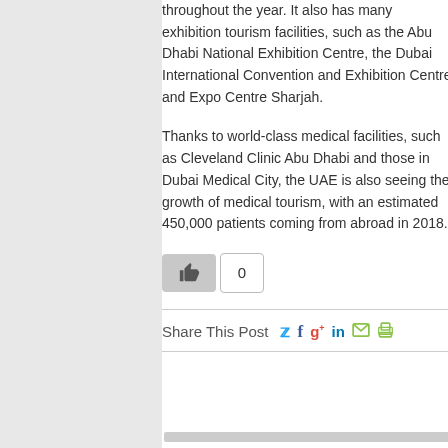throughout the year. It also has many exhibition tourism facilities, such as the Abu Dhabi National Exhibition Centre, the Dubai International Convention and Exhibition Centre and Expo Centre Sharjah.
Thanks to world-class medical facilities, such as Cleveland Clinic Abu Dhabi and those in Dubai Medical City, the UAE is also seeing the growth of medical tourism, with an estimated 450,000 patients coming from abroad in 2018.
[Figure (other): Like button with thumbs-up icon and a count badge showing 0]
Share This Post
[Figure (other): Social share icons: Twitter, Facebook, Google+, LinkedIn, Email, Print]